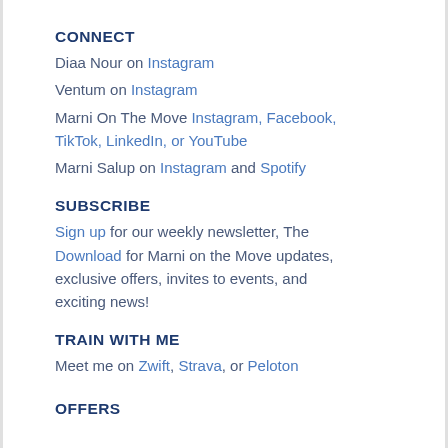CONNECT
Diaa Nour on Instagram
Ventum on Instagram
Marni On The Move Instagram, Facebook, TikTok, LinkedIn, or YouTube
Marni Salup on Instagram and Spotify
SUBSCRIBE
Sign up for our weekly newsletter, The Download for Marni on the Move updates, exclusive offers, invites to events, and exciting news!
TRAIN WITH ME
Meet me on Zwift, Strava, or Peloton
OFFERS